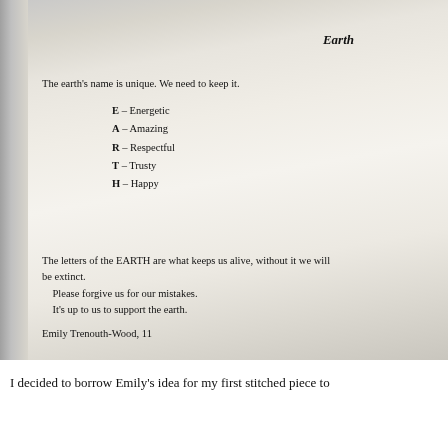Earth
The earth's name is unique. We need to keep it.
E – Energetic
A – Amazing
R – Respectful
T – Trusty
H – Happy
The letters of the EARTH are what keeps us alive, without it we will be extinct.
    Please forgive us for our mistakes.
    It's up to us to support the earth.
Emily Trenouth-Wood, 11
I decided to borrow Emily's idea for my first stitched piece to